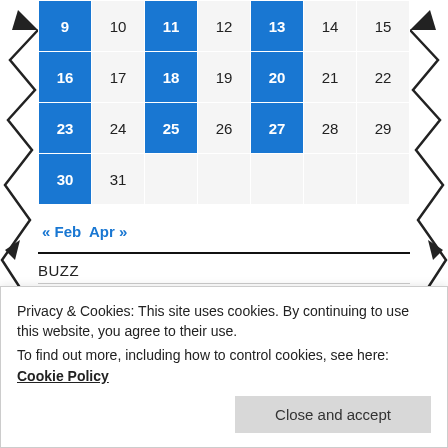| 9 | 10 | 11 | 12 | 13 | 14 | 15 |
| 16 | 17 | 18 | 19 | 20 | 21 | 22 |
| 23 | 24 | 25 | 26 | 27 | 28 | 29 |
| 30 | 31 |  |  |  |  |  |
<< Feb  Apr >>
BUZZ
About & Review Policy
Mo Dao Zu Shi -- Names Guide #mdzs
Privacy & Cookies: This site uses cookies. By continuing to use this website, you agree to their use.
To find out more, including how to control cookies, see here: Cookie Policy